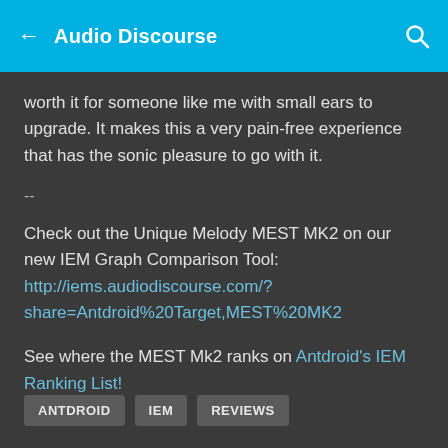Audio Discourse
worth it for someone like me with small ears to upgrade. It makes this a very pain-free experience that has the sonic pleasure to go with it.
--
Check out the Unique Melody MEST MK2 on our new IEM Graph Comparison Tool:
http://iems.audiodiscourse.com/?share=Antdroid%20Target,MEST%20MK2
See where the MEST Mk2 ranks on Antdroid's IEM Ranking List!
ANTDROID
IEM
REVIEWS